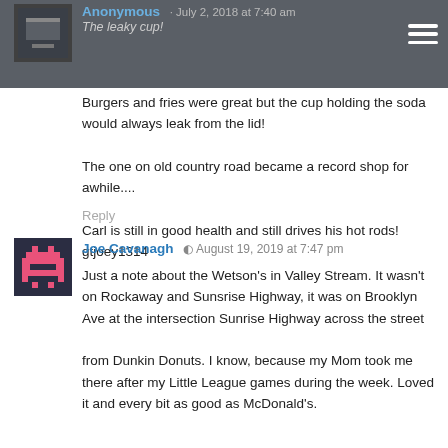Anonymous · [date/time]  The leaky cup!
Burgers and fries were great but the cup holding the soda would always leak from the lid!
The one on old country road became a record shop for awhile....
Carl is still in good health and still drives his hot rods!
gtjoey1314
Reply
Joe Cavanagh  August 19, 2019 at 7:47 pm
Just a note about the Wetson's in Valley Stream. It wasn't on Rockaway and Sunsrise Highway, it was on Brooklyn Ave at the intersection Sunrise Highway across the street from Dunkin Donuts. I know, because my Mom took me there after my Little League games during the week. Loved it and every bit as good as McDonald's.